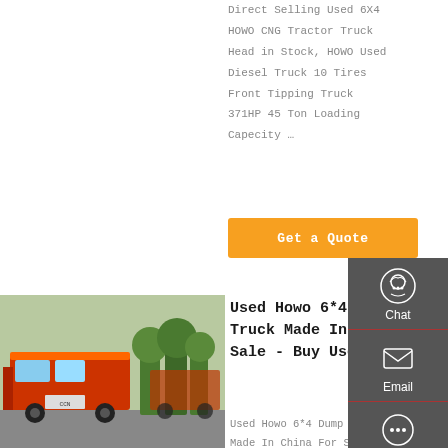Direct Selling Used 6X4 HOWO CNG Tractor Truck Head in Stock, HOWO Used Diesel Truck 10 Tires Front Tipping Truck 371HP 45 Ton Loading Capecity …
Get a Quote
[Figure (photo): Photo of used Howo 6x4 dump trucks parked in a lot, orange/red trucks visible, trees in background]
Used Howo 6*4 Dump Truck Made In China For Sale - Buy Used
Used Howo 6*4 Dump Truck Made In China For Sale,